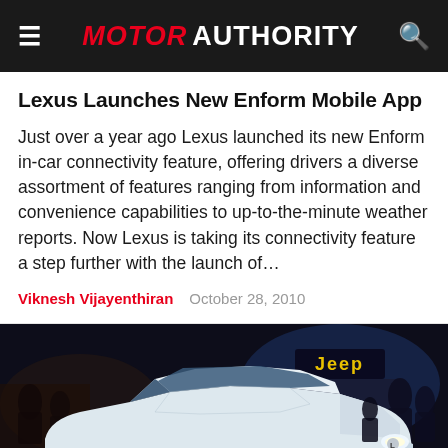MOTOR AUTHORITY
Lexus Launches New Enform Mobile App
Just over a year ago Lexus launched its new Enform in-car connectivity feature, offering drivers a diverse assortment of features ranging from information and convenience capabilities to up-to-the-minute weather reports. Now Lexus is taking its connectivity feature a step further with the launch of…
Viknesh Vijayenthiran   October 28, 2010
[Figure (photo): White Lexus sedan photographed at what appears to be an auto show, with Jeep signage visible in the background and people milling around.]